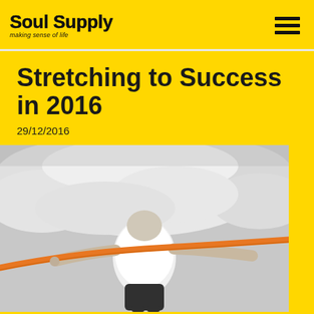Soul Supply — making sense of life
Stretching to Success in 2016
29/12/2016
[Figure (photo): Black and white photo of a person in a white t-shirt stretching or leaning back with arms outstretched, with an orange resistance band or ribbon stretched across, against a cloudy sky background.]